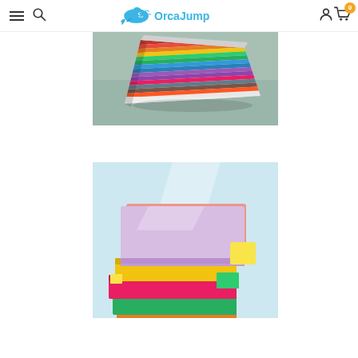OrcaJump navigation header with menu, search, logo, account, and cart icons
[Figure (photo): Close-up of a stack of colorful striped paper/notebook viewed from the side on a teal/green surface]
[Figure (photo): Stack of colorful sticky note pads in pink, yellow, green, orange, and purple on a light blue background]